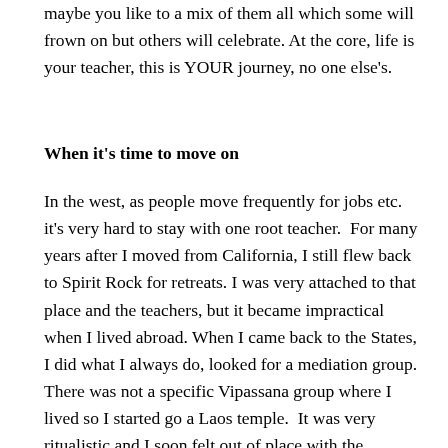maybe you like to a mix of them all which some will frown on but others will celebrate. At the core, life is your teacher, this is YOUR journey, no one else's.
When it's time to move on
In the west, as people move frequently for jobs etc. it's very hard to stay with one root teacher.  For many years after I moved from California, I still flew back to Spirit Rock for retreats. I was very attached to that place and the teachers, but it became impractical when I lived abroad. When I came back to the States, I did what I always do, looked for a mediation group. There was not a specific Vipassana group where I lived so I started go a Laos temple.  It was very ritualistic and I soon felt out of place with the Laotians who had many festivals and offerings and big gold Buddha's.  So a few of us decided to sponsor a monk to come live and teach at a separate center. We arranged to give robes to our new resident monk, an American who had recently been ordained in Thailand. He was very intent on not diverging in any way